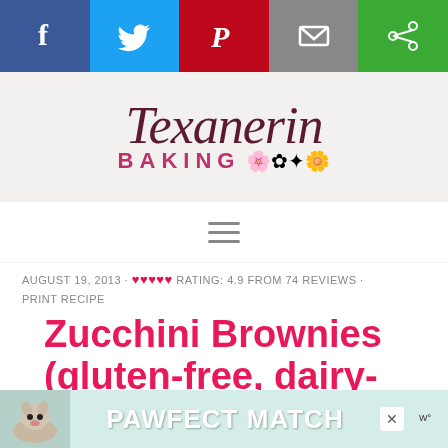[Figure (screenshot): Social media sharing bar with Facebook, Twitter, Pinterest, Email, and share buttons]
[Figure (logo): Texanerin Baking logo with script font and decorative flowers]
[Figure (other): Hamburger menu icon (three horizontal lines)]
AUGUST 19, 2013 · ♥♥♥♥♥ RATING: 4.9 FROM 74 REVIEWS · PRINT RECIPE
Zucchini Brownies (gluten-free, dairy-free options)
[Figure (other): PAWFECT MATCH advertisement banner with dog image]